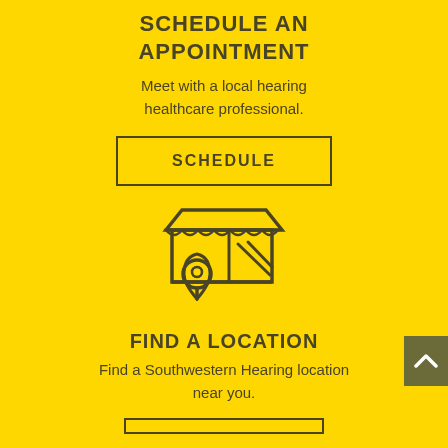SCHEDULE AN APPOINTMENT
Meet with a local hearing healthcare professional.
[Figure (other): Button with text SCHEDULE inside a rectangular border]
[Figure (illustration): Store/shop icon with a location pin overlay]
FIND A LOCATION
Find a Southwestern Hearing location near you.
[Figure (other): Partially visible button at bottom of page]